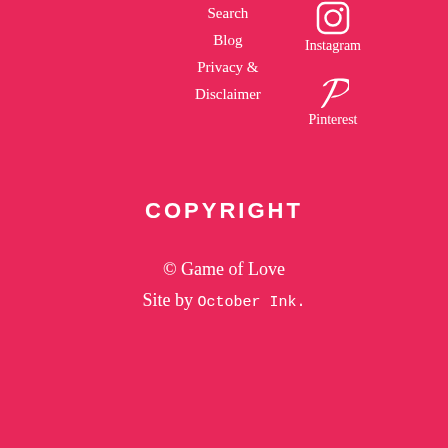Search
Blog
Privacy & Disclaimer
[Figure (illustration): Instagram icon (camera symbol) with label 'Instagram' below]
[Figure (illustration): Pinterest icon (P symbol) with label 'Pinterest' below]
COPYRIGHT
© Game of Love
Site by October Ink.